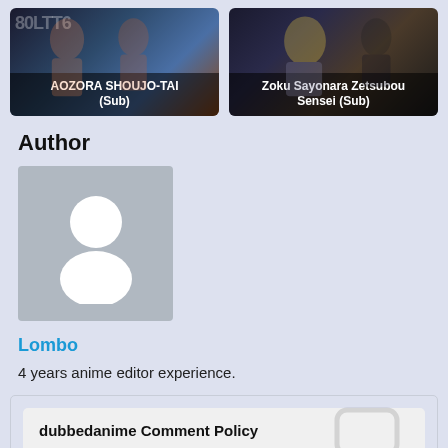[Figure (screenshot): Two anime thumbnail images side by side. Left: AOZORA SHOUJO-TAI (Sub). Right: Zoku Sayonara Zetsubou Sensei (Sub).]
Author
[Figure (illustration): Default user avatar placeholder image — grey background with white silhouette of a person]
Lombo
4 years anime editor experience.
dubbedanime Comment Policy
Please read our Comment Policy before commenting.